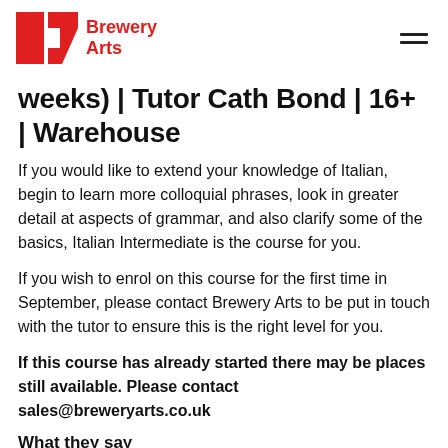Brewery Arts
weeks) | Tutor Cath Bond | 16+ | Warehouse
If you would like to extend your knowledge of Italian, begin to learn more colloquial phrases, look in greater detail at aspects of grammar, and also clarify some of the basics, Italian Intermediate is the course for you.
If you wish to enrol on this course for the first time in September, please contact Brewery Arts to be put in touch with the tutor to ensure this is the right level for you.
If this course has already started there may be places still available. Please contact sales@breweryarts.co.uk
What they say